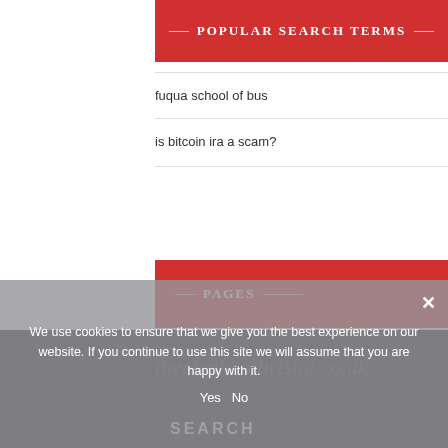POPULAR SEARCH TERMS
fuqua school of bus
is bitcoin ira a scam?
PAGES
Contact
Privacy
Sitemap
theelephantbristol.co.uk
SEARCH
We use cookies to ensure that we give you the best experience on our website. If you continue to use this site we will assume that you are happy with it.
Yes   No